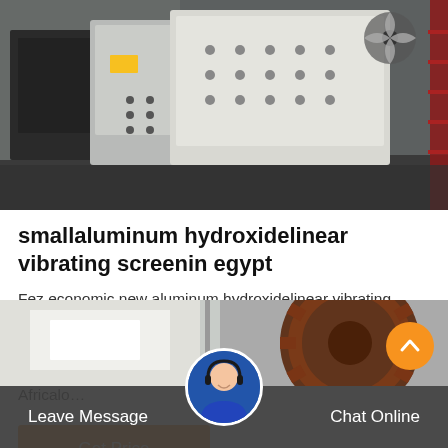[Figure (photo): Industrial vibrating screen equipment shown in a factory/warehouse setting, multiple large metal screening machines arranged in a row.]
smallaluminum hydroxidelinear vibrating screenin egypt
Fez economic new aluminum hydroxidelinear vibrating screensell. large gypsum stone crusher in Ismailia Egypt Africa Panola. IsmailiaEgypt Africalowpricemediumrockconecrusher.IsmailiaEgypt Africalo…
Get Price
[Figure (photo): Partial view of industrial machinery, showing a large gear/sprocket wheel and mechanical equipment in the lower portion of the page.]
Leave Message   Chat Online